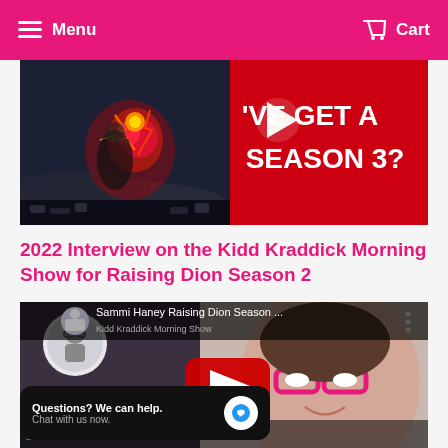Menu  Cart
[Figure (screenshot): Video thumbnail showing animated battle scene with red energy effects on the left and red banner text reading 'VE GET A SEASON 3?' with a play button on the right]
2022 Interview on the Kidd Kraddick Morning Show for Raising Dion Season 2
[Figure (screenshot): YouTube video thumbnail showing Sammi Haney Raising Dion Season... with Kidd Kraddick Morning Show logo on the left and a girl with pink glasses on the right, play button overlay, and text at bottom: SAMMI KIDD'S KIDS &]
Questions? We can help. Chat with us now.